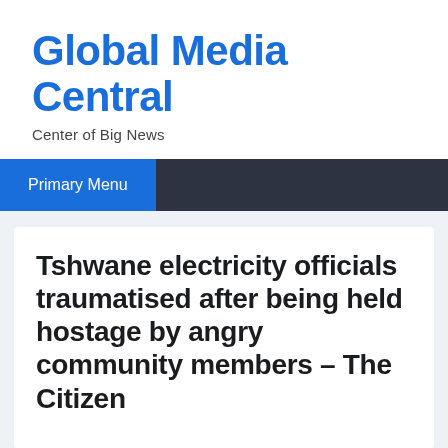Global Media Central
Center of Big News
Primary Menu
Tshwane electricity officials traumatised after being held hostage by angry community members – The Citizen